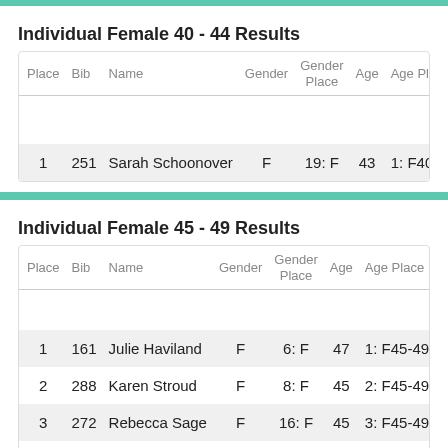Individual Female 40 - 44 Results
| Place | Bib | Name | Gender | Gender Place | Age | Age Place |
| --- | --- | --- | --- | --- | --- | --- |
| 1 | 251 | Sarah Schoonover | F | 19: F | 43 | 1: F40-4 |
Individual Female 45 - 49 Results
| Place | Bib | Name | Gender | Gender Place | Age | Age Place |
| --- | --- | --- | --- | --- | --- | --- |
| 1 | 161 | Julie Haviland | F | 6: F | 47 | 1: F45-49 |
| 2 | 288 | Karen Stroud | F | 8: F | 45 | 2: F45-49 |
| 3 | 272 | Rebecca Sage | F | 16: F | 45 | 3: F45-49 |
| 4 | 267 | Reena Powers | F | 23: F | 45 | 4: F45-49 |